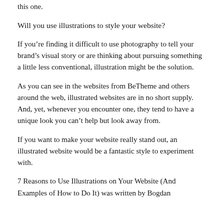this one.
Will you use illustrations to style your website?
If you’re finding it difficult to use photography to tell your brand’s visual story or are thinking about pursuing something a little less conventional, illustration might be the solution.
As you can see in the websites from BeTheme and others around the web, illustrated websites are in no short supply. And, yet, whenever you encounter one, they tend to have a unique look you can’t help but look away from.
If you want to make your website really stand out, an illustrated website would be a fantastic style to experiment with.
7 Reasons to Use Illustrations on Your Website (And Examples of How to Do It) was written by Bogdan